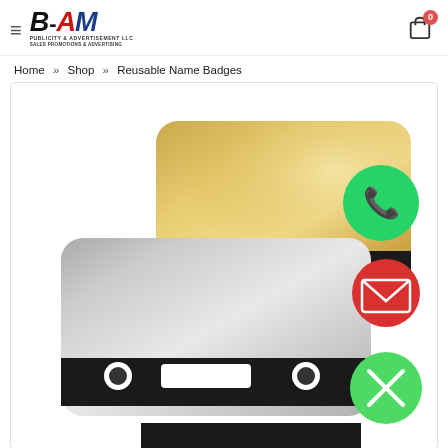BAM Publicity & Advertisement LLC — Navigation header with cart (0 items)
Home » Shop » Reusable Name Badges
[Figure (photo): Product photo of reusable name badges — one gold/brass colored badge and one silver colored badge, each with a magnetic strip on the back showing mounting points. Three floating action buttons on the right: green WhatsApp button, red email/envelope button, and green close/X button.]